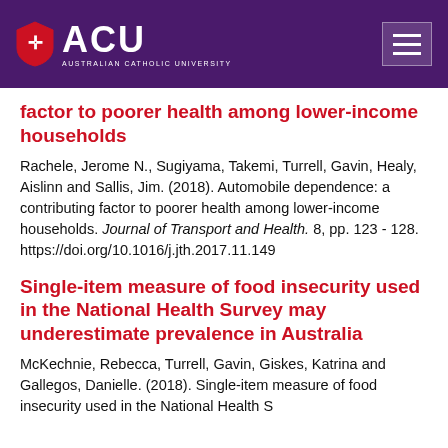ACU - Australian Catholic University
factor to poorer health among lower-income households
Rachele, Jerome N., Sugiyama, Takemi, Turrell, Gavin, Healy, Aislinn and Sallis, Jim. (2018). Automobile dependence: a contributing factor to poorer health among lower-income households. Journal of Transport and Health. 8, pp. 123 - 128. https://doi.org/10.1016/j.jth.2017.11.149
Single-item measure of food insecurity used in the National Health Survey may underestimate prevalence in Australia
McKechnie, Rebecca, Turrell, Gavin, Giskes, Katrina and Gallegos, Danielle. (2018). Single-item measure of food insecurity used in the National Health S...